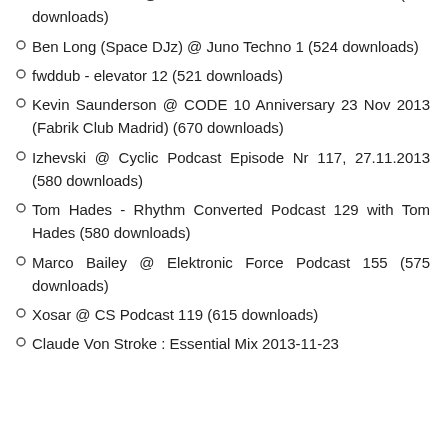Patrick Siech @ Invite's Choice Podcast 147 (608 downloads)
Ben Long (Space DJz) @ Juno Techno 1 (524 downloads)
fwddub - elevator 12 (521 downloads)
Kevin Saunderson @ CODE 10 Anniversary 23 Nov 2013 (Fabrik Club Madrid) (670 downloads)
Izhevski @ Cyclic Podcast Episode Nr 117, 27.11.2013 (580 downloads)
Tom Hades - Rhythm Converted Podcast 129 with Tom Hades (580 downloads)
Marco Bailey @ Elektronic Force Podcast 155 (575 downloads)
Xosar @ CS Podcast 119 (615 downloads)
Claude Von Stroke : Essential Mix 2013-11-23